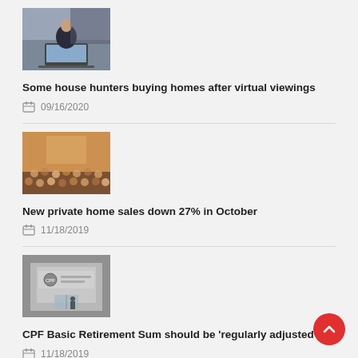[Figure (photo): Woman sitting at desk with laptop, blurred background]
Some house hunters buying homes after virtual viewings
09/16/2020
[Figure (photo): Crowd of people in an event hall]
New private home sales down 27% in October
11/18/2019
[Figure (photo): CPF Board Service Centre entrance sign]
CPF Basic Retirement Sum should be 'regularly adjusted'
11/18/2019